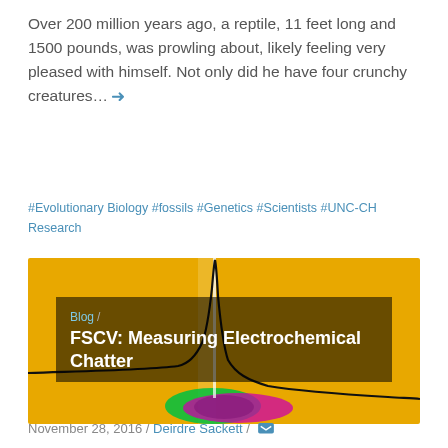Over 200 million years ago, a reptile, 11 feet long and 1500 pounds, was prowling about, likely feeling very pleased with himself. Not only did he have four crunchy creatures... →
#Evolutionary Biology #fossils #Genetics #Scientists #UNC-CH Research
[Figure (photo): Scientific image showing a yellow background with a black curve peaking sharply in the center, with green and pink/magenta colored regions at the base of the peak, resembling an FSCV electrochemical measurement visualization.]
Blog / FSCV: Measuring Electrochemical Chatter
November 28, 2016 / Deirdre Sackett / 💬